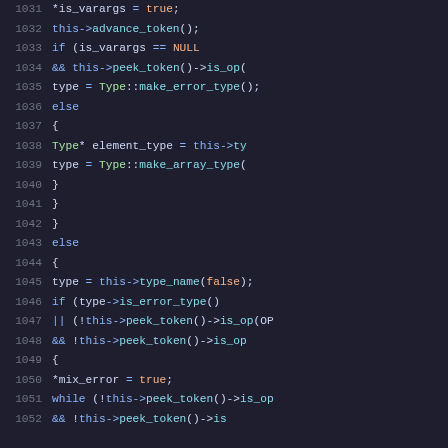[Figure (screenshot): Source code listing lines 1031-1052 showing C++ parser code with syntax highlighting on dark background. Code involves type parsing, varargs checking, array type creation, and error handling.]